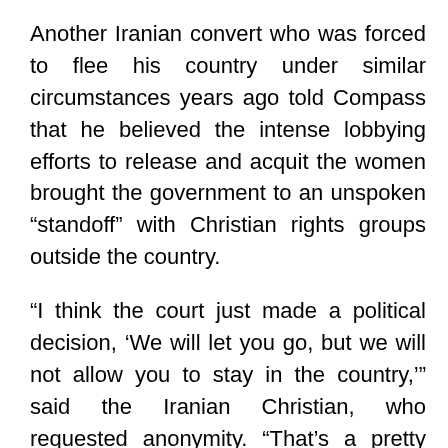Another Iranian convert who was forced to flee his country under similar circumstances years ago told Compass that he believed the intense lobbying efforts to release and acquit the women brought the government to an unspoken “standoff” with Christian rights groups outside the country.
“I think the court just made a political decision, ‘We will let you go, but we will not allow you to stay in the country,’” said the Iranian Christian, who requested anonymity. “That’s a pretty old-fashioned procedure they have – ‘We will let you go if you leave the country. You can have your faith, but not here.’”
In general, when Iranian authorities arrest Christians, they release them on bail within a few weeks and keep their case files open, thus applying soft pressure while allowing them to continue living in Iran. In cases where the